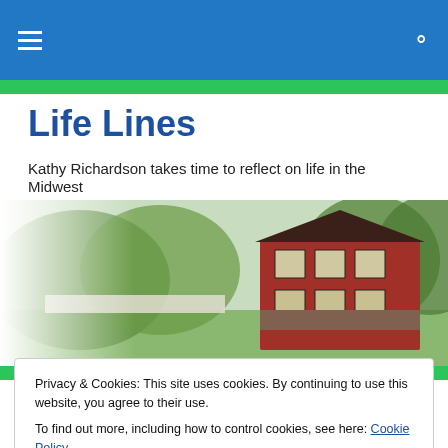Life Lines — navigation bar with hamburger menu and search icon
Life Lines
Kathy Richardson takes time to reflect on life in the Midwest
[Figure (photo): A red two-story farmhouse with green trees in the background, viewed from a slightly elevated angle. The image fades on the left side.]
THEM versus US
Privacy & Cookies: This site uses cookies. By continuing to use this website, you agree to their use.
To find out more, including how to control cookies, see here: Cookie Policy
Close and accept